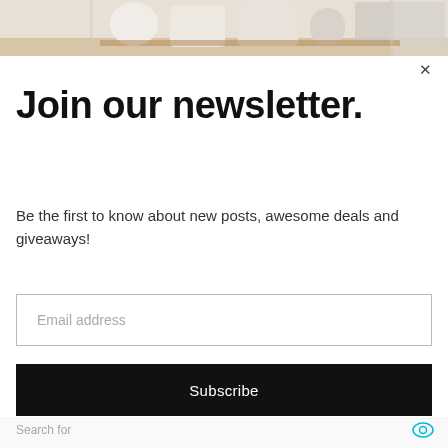[Figure (photo): Top portion of a home decor photo showing white cylindrical objects and boxes on a wooden shelf with white curtains in the background, partially cropped at top of page]
Join our newsletter.
Be the first to know about new posts, awesome deals and giveaways!
Email address
Subscribe
Search for
1. CLEARANCE HOME DECOR
2. HOME DECOR ACCESSORIES